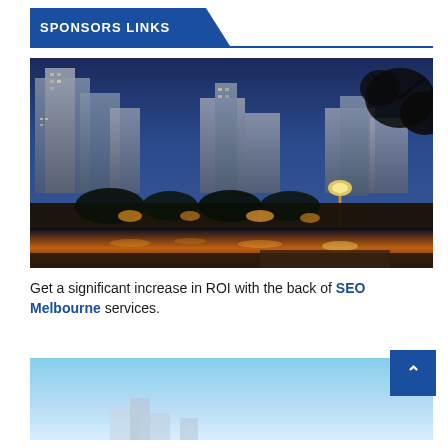SPONSORS LINKS
[Figure (photo): Night cityscape of Melbourne showing illuminated skyscrapers, river reflections, street lights, and tree branches in the foreground against a dark blue twilight sky.]
Get a significant increase in ROI with the back of SEO Melbourne services.
[Figure (photo): Partial view of a city scene with a light blue sky background, partially visible at the bottom of the page.]